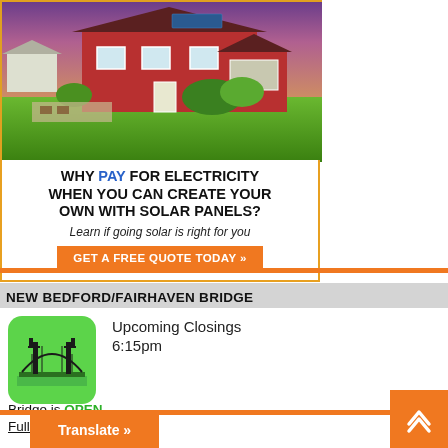[Figure (photo): Advertisement showing a red barn-style house with solar panels on the roof, green lawn, outdoor patio furniture, at dusk/twilight.]
WHY PAY FOR ELECTRICITY WHEN YOU CAN CREATE YOUR OWN WITH SOLAR PANELS? Learn if going solar is right for you GET A FREE QUOTE TODAY »
NEW BEDFORD/FAIRHAVEN BRIDGE
[Figure (illustration): Green rounded-square icon with a black suspension bridge illustration]
Upcoming Closings
6:15pm
Bridge is OPEN
Full Schedule Here
Translate »